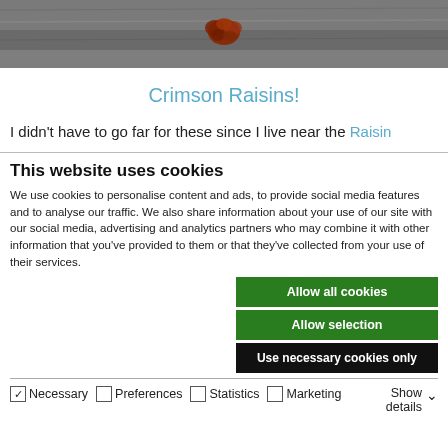[Figure (photo): Top portion of a food photo showing raisins on a wooden surface, partially cropped.]
Crimson Raisins!
I didn’t have to go far for these since I live near the Raisin
This website uses cookies
We use cookies to personalise content and ads, to provide social media features and to analyse our traffic. We also share information about your use of our site with our social media, advertising and analytics partners who may combine it with other information that you’ve provided to them or that they’ve collected from your use of their services.
Allow all cookies
Allow selection
Use necessary cookies only
Necessary Preferences Statistics Marketing Show details